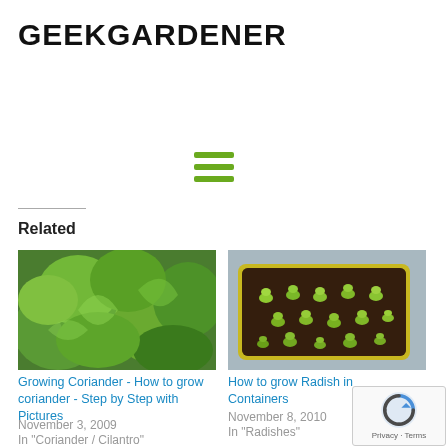GEEKGARDENER
[Figure (infographic): Hamburger menu icon with three green horizontal lines]
Related
[Figure (photo): Close-up photo of green coriander/cilantro plant leaves]
Growing Coriander - How to grow coriander - Step by Step with Pictures
November 3, 2009
In "Coriander / Cilantro"
[Figure (photo): Photo of radish seedlings sprouting in a rectangular container with dark soil]
How to grow Radish in Containers
November 8, 2010
In "Radishes"